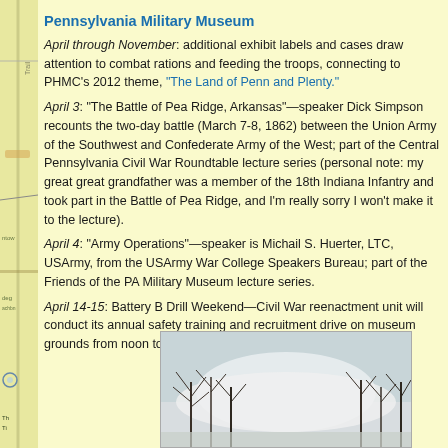Pennsylvania Military Museum
April through November: additional exhibit labels and cases draw attention to combat rations and feeding the troops, connecting to PHMC’s 2012 theme, “The Land of Penn and Plenty.”
April 3: “The Battle of Pea Ridge, Arkansas”—speaker Dick Simpson recounts the two-day battle (March 7-8, 1862) between the Union Army of the Southwest and Confederate Army of the West; part of the Central Pennsylvania Civil War Roundtable lecture series (personal note: my great great grandfather was a member of the 18th Indiana Infantry and took part in the Battle of Pea Ridge, and I’m really sorry I won’t make it to the lecture).
April 4: “Army Operations”—speaker is Michail S. Huerter, LTC, USArmy, from the USArmy War College Speakers Bureau; part of the Friends of the PA Military Museum lecture series.
April 14-15: Battery B Drill Weekend—Civil War reenactment unit will conduct its annual safety training and recruitment drive on museum grounds from noon to 4 pm each day.
[Figure (photo): Outdoor winter scene with bare trees and snow or smoke, partially visible at bottom of page]